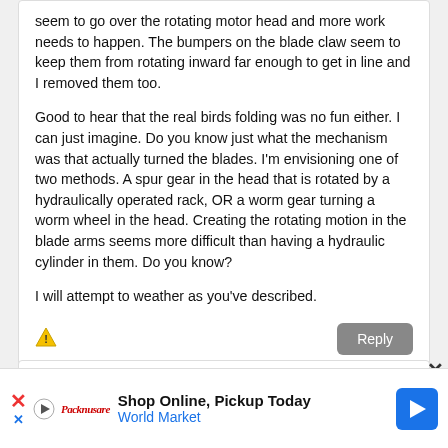seem to go over the rotating motor head and more work needs to happen. The bumpers on the blade claw seem to keep them from rotating inward far enough to get in line and I removed them too.

Good to hear that the real birds folding was no fun either. I can just imagine. Do you know just what the mechanism was that actually turned the blades. I'm envisioning one of two methods. A spur gear in the head that is rotated by a hydraulically operated rack, OR a worm gear turning a worm wheel in the head. Creating the rotating motion in the blade arms seems more difficult than having a hydraulic cylinder in them. Do you know?

I will attempt to weather as you've described.
[Figure (other): Warning triangle icon (yellow)]
[Figure (other): Reply button (gray rounded rectangle)]
[Figure (other): Close X button]
[Figure (other): Advertisement bar: Shop Online, Pickup Today - World Market]